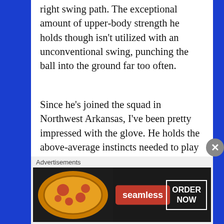right swing path. The exceptional amount of upper-body strength he holds though isn't utilized with an unconventional swing, punching the ball into the ground far too often.
Since he's joined the squad in Northwest Arkansas, I've been pretty impressed with the glove. He holds the above-average instincts needed to play third, and whatever he's missing with range (while not terrible), he makes up for it with a cannon of an arm. Should be worth noting he has gotten looks twice at shortstop since being traded to the Royals and has even played some first base in his career.
The ceiling isn't huge with Gutierrez. He seems like a solid bet to at least make the major leagues, but the best case scenario is
[Figure (infographic): Seamless food ordering advertisement banner with pizza image on left, Seamless logo in red badge, and ORDER NOW button with white border on dark background]